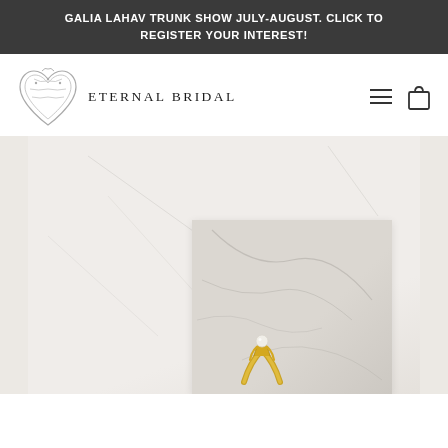GALIA LAHAV TRUNK SHOW JULY-AUGUST. CLICK TO REGISTER YOUR INTEREST!
[Figure (logo): Eternal Bridal logo: decorative heart-shaped filigree ornament with the text ETERNAL BRIDAL in spaced serif caps]
[Figure (photo): Close-up photo of a marble surface with a white/ivory background and a smaller marble tile block, with a gold and pearl ring resting on it]